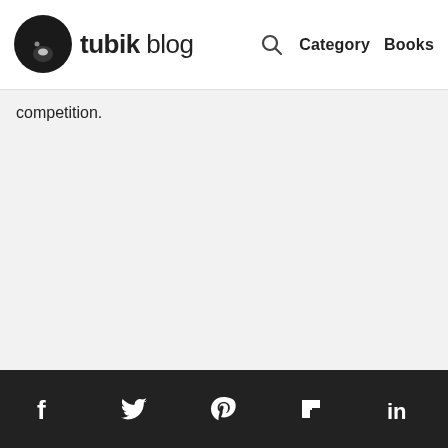tubik blog — Category Books
competition.
Social links: Facebook, Twitter, Pinterest, Flipboard, LinkedIn